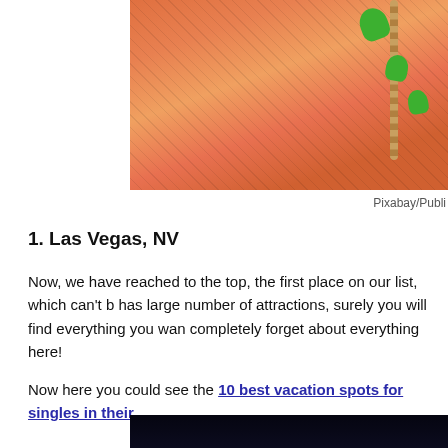[Figure (photo): Colorful orange flamenco/folkloric dancer dress with green ribbons and brown beaded necklace, partial view]
Pixabay/Publi
1. Las Vegas, NV
Now, we have reached to the top, the first place on our list, which can't be has large number of attractions, surely you will find everything you wan completely forget about everything here!
Now here you could see the 10 best vacation spots for singles in their
[Figure (photo): Dark stage performance photo showing a small lit figure against a black background]